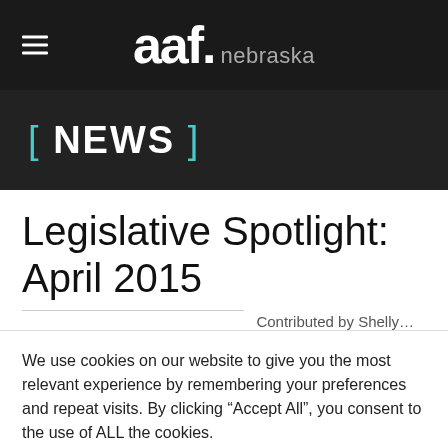aaf. nebraska
[ NEWS ]
Legislative Spotlight: April 2015
We use cookies on our website to give you the most relevant experience by remembering your preferences and repeat visits. By clicking “Accept All”, you consent to the use of ALL the cookies.
Accept | Close